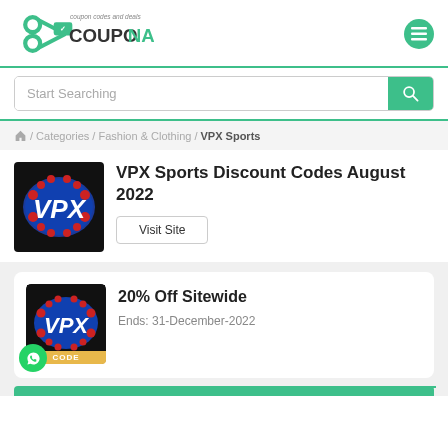[Figure (logo): Couponado logo with scissors icon and tagline 'coupon codes and deals']
Start Searching
/ Categories / Fashion & Clothing / VPX Sports
VPX Sports Discount Codes August 2022
Visit Site
[Figure (logo): VPX Sports logo on black background]
20% Off Sitewide
Ends: 31-December-2022
CODE